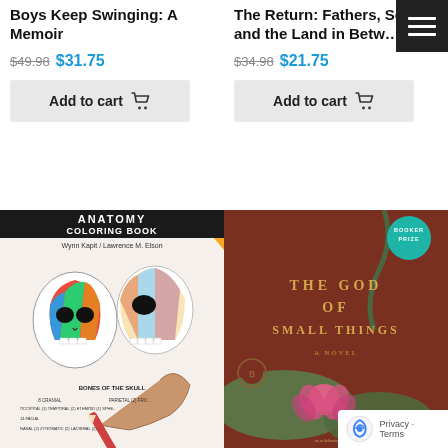Boys Keep Swinging: A Memoir
$49.98  $31.75
Add to cart
The Return: Fathers, Sons and the Land in Between
$34.98  $21.75
Add to cart
[Figure (photo): Cover of Anatomy Coloring Book by Wynn Kapit / Lawrence M. Elson, showing two illustrated human skulls with colored regions and a hand holding a red pencil]
[Figure (photo): Cover of The God of Small Things, a novel, showing a dark terracotta background with lotus flowers and leaves, with a Booker Prize seal in the top right corner]